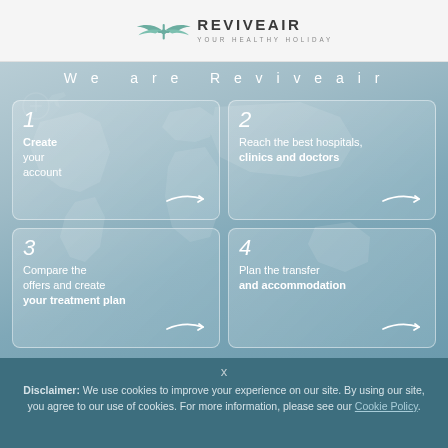REVIVEAIR — YOUR HEALTHY HOLIDAY
We are Reviveair
1 — Create your account
2 — Reach the best hospitals, clinics and doctors
3 — Compare the offers and create your treatment plan
4 — Plan the transfer and accommodation
Disclaimer: We use cookies to improve your experience on our site. By using our site, you agree to our use of cookies. For more information, please see our Cookie Policy.